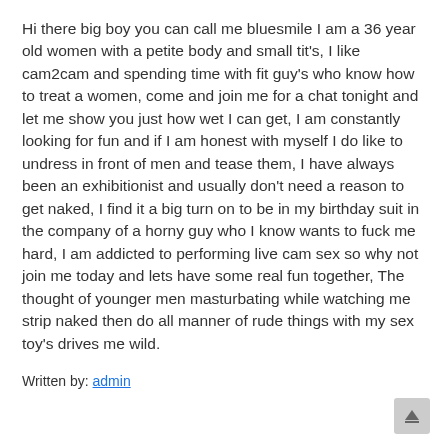Hi there big boy you can call me bluesmile I am a 36 year old women with a petite body and small tit's, I like cam2cam and spending time with fit guy's who know how to treat a women, come and join me for a chat tonight and let me show you just how wet I can get, I am constantly looking for fun and if I am honest with myself I do like to undress in front of men and tease them, I have always been an exhibitionist and usually don't need a reason to get naked, I find it a big turn on to be in my birthday suit in the company of a horny guy who I know wants to fuck me hard, I am addicted to performing live cam sex so why not join me today and lets have some real fun together, The thought of younger men masturbating while watching me strip naked then do all manner of rude things with my sex toy's drives me wild.
Written by: admin